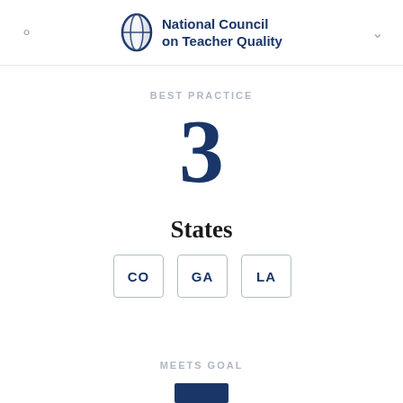National Council on Teacher Quality
BEST PRACTICE
3
States
CO
GA
LA
MEETS GOAL